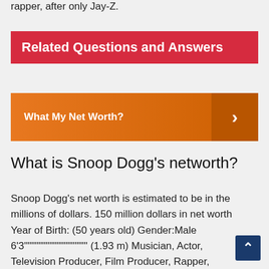rapper, after only Jay-Z.
Related Questions and Answers
What My Net Worth?
What is Snoop Dogg's networth?
Snoop Dogg's net worth is estimated to be in the millions of dollars. 150 million dollars in net worth Year of Birth: (50 years old) Gender:Male 6'3""""""""""""""""" (1.93 m) Musician, Actor, Television Producer, Film Producer, Rapper, Film Score